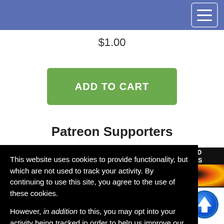$1.00
ADD TO CART
Patreon Supporters
[Figure (logo): Dingle's Games logo on yellow background]
[Figure (logo): Blue arrow/geometry logo on light blue background]
[Figure (logo): FREE PF/D&D BATTLEMAPS with fire/black hole graphic and MAD CARTOGRAPHER text]
Open Gaming
This website uses cookies to provide functionality, but which are not used to track your activity. By continuing to use this site, you agree to the use of these cookies.

However, in addition to this, you may opt into your activity being tracked in order to help us improve our service.

For more information, please click here
OK
No, thank you